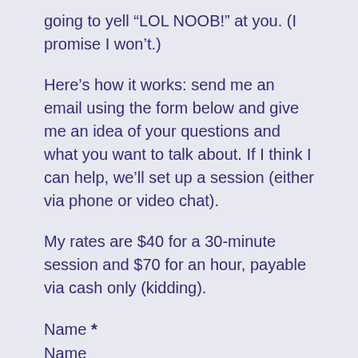going to yell “LOL NOOB!” at you. (I promise I won’t.)
Here’s how it works: send me an email using the form below and give me an idea of your questions and what you want to talk about. If I think I can help, we’ll set up a session (either via phone or video chat).
My rates are $40 for a 30-minute session and $70 for an hour, payable via cash only (kidding).
Name *
Name
First Name
Last Name
Email Address *
Message *